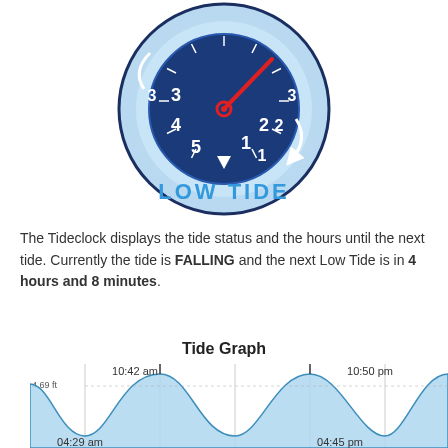[Figure (other): Tide clock diagram showing a circular clock face with dark navy center, light blue outer ring labeled LOW TIDE at bottom. Numbers 1-5 on inner dark ring and 1-3 on outer ring. A red clock hand pointing upper right. White triangle pointer at bottom inner ring.]
The Tideclock displays the tide status and the hours until the next tide. Currently the tide is FALLING and the next Low Tide is in 4 hours and 8 minutes.
Tide Graph
[Figure (area-chart): Tide graph showing sinusoidal wave pattern with high tides at 10:42 am (4.69 ft) and 10:50 pm (4.69 ft), low tides at 04:29 am and 04:45 pm. Blue filled area under curve with vertical lines at peaks.]